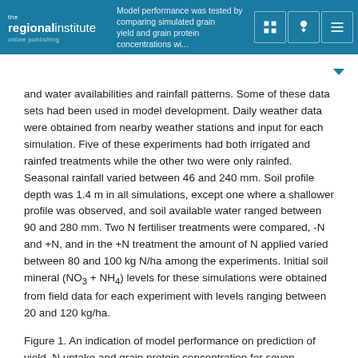the regionalinstitute online publishing — Model performance was tested by comparing simulated grain yield and grain protein concentration with…
and water availabilities and rainfall patterns. Some of these data sets had been used in model development. Daily weather data were obtained from nearby weather stations and input for each simulation. Five of these experiments had both irrigated and rainfed treatments while the other two were only rainfed. Seasonal rainfall varied between 46 and 240 mm. Soil profile depth was 1.4 m in all simulations, except one where a shallower profile was observed, and soil available water ranged between 90 and 280 mm. Two N fertiliser treatments were compared, -N and +N, and in the +N treatment the amount of N applied varied between 80 and 100 kg N/ha among the experiments. Initial soil mineral (NO3 + NH4) levels for these simulations were obtained from field data for each experiment with levels ranging between 20 and 120 kg/ha.
Figure 1. An indication of model performance on prediction of yield, N uptake and grain protein concentration for seven experiments in South-eastern Queensland (IRR=irrigated